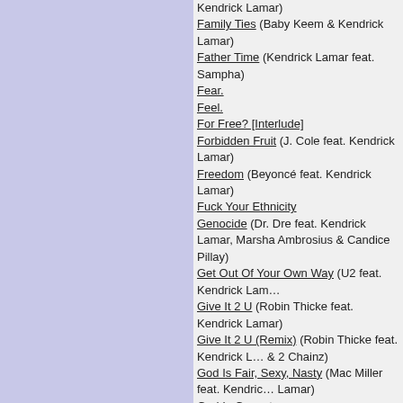Kendrick Lamar)
Family Ties (Baby Keem & Kendrick Lamar)
Father Time (Kendrick Lamar feat. Sampha)
Fear.
Feel.
For Free? [Interlude]
Forbidden Fruit (J. Cole feat. Kendrick Lamar)
Freedom (Beyoncé feat. Kendrick Lamar)
Fuck Your Ethnicity
Genocide (Dr. Dre feat. Kendrick Lamar, Marsha Ambrosius & Candice Pillay)
Get Out Of Your Own Way (U2 feat. Kendrick Lamar)
Give It 2 U (Robin Thicke feat. Kendrick Lamar)
Give It 2 U (Remix) (Robin Thicke feat. Kendrick Lamar & 2 Chainz)
God Is Fair, Sexy, Nasty (Mac Miller feat. Kendrick Lamar)
God Is Gangsta
God.
Good Kid
Goosebumps (Travis Scott feat. Kendrick Lamar)
Hair Down (SiR feat. Kendrick Lamar)
HiiiPoWeR
Hol' Up
Holy Key (DJ Khaled feat. Big Sean, Kendrick Lamar and Betty Wright)
Hood Gone Love It (Jay Rock feat. Kendrick Lamar)
Hood Politics
How Many Drinks? (Miguel feat. Kendrick Lamar)
How Much A Dollar Cost (Kendrick Lamar feat. James Fauntleroy & Ronald Isley)
Humble.
i
Ignorance Is Bliss
I'm Ya Dogg (Snoop Dogg feat. Kendrick Lamar & Rick Ross)
Institutionalized (Kendrick Lamar feat. Bilal, Anna Wise & Snoop Dogg)